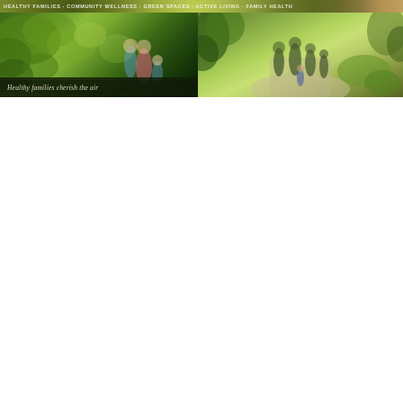[Figure (photo): A composite banner image showing two outdoor scenes side by side. Left panel: a blurred garden/park scene with lush green foliage and a family group (adults and children) in the foreground, with a dark caption bar at the bottom containing italic text about healthy families. Right panel: a blurred pathway scene with people walking among green trees and landscaped gardens.]